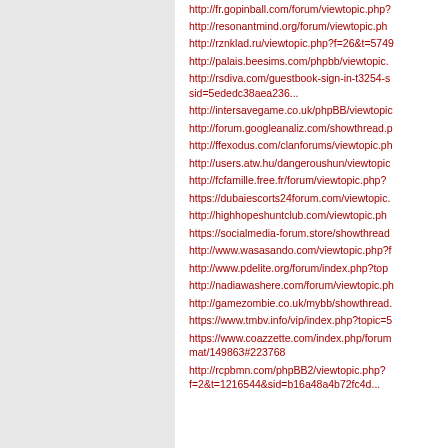http://fr.gopinball.com/forum/viewtopic.php?...
http://resonantmind.org/forum/viewtopic.ph...
http://rznklad.ru/viewtopic.php?f=26&t=5749...
http://palais.beesims.com/phpbb/viewtopic....
http://rsdiva.com/guestbook-sign-in-t3254-s sid=5ededc38aea236...
http://intersavegame.co.uk/phpBB/viewtopic...
http://forum.googleanaliz.com/showthread.p...
http://ffexodus.com/clanforums/viewtopic.ph...
http://users.atw.hu/dangeroushun/viewtopic...
http://fcfamille.free.fr/forum/viewtopic.php?...
https://dubaiescorts24forum.com/viewtopic....
http://highhopeshuntclub.com/viewtopic.ph...
https://socialmedia-forum.store/showthread...
http://www.wasasando.com/viewtopic.php?f...
http://www.pdelite.org/forum/index.php?top...
http://nadiawashere.com/forum/viewtopic.ph...
http://gamezombie.co.uk/mybb/showthread....
https://www.tmbv.info/vip/index.php?topic=5...
https://www.coazzette.com/index.php/forum mat/149863#223768
http://rcpbmn.com/phpBB2/viewtopic.php? f=2&t=1216544&sid=b16a48a4b72fc4d...